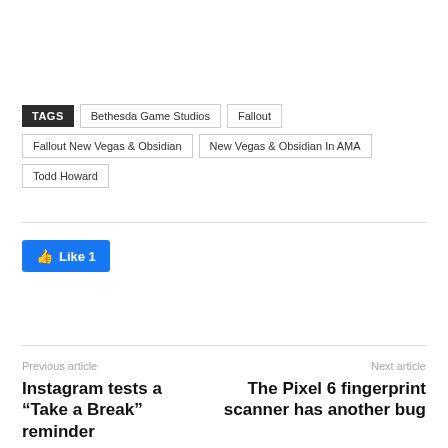TAGS  Bethesda Game Studios  Fallout  Fallout New Vegas & Obsidian  New Vegas & Obsidian In AMA  Todd Howard
[Figure (other): Facebook Like button showing count of 1]
Previous article
Instagram tests a “Take a Break” reminder
Next article
The Pixel 6 fingerprint scanner has another bug